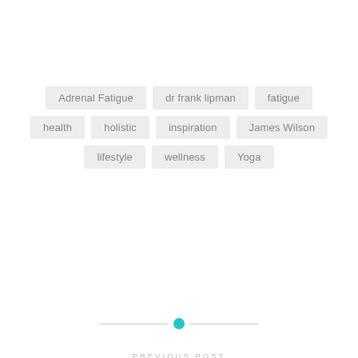Adrenal Fatigue
dr frank lipman
fatigue
health
holistic
inspiration
James Wilson
lifestyle
wellness
Yoga
[Figure (other): Teal circular dot divider between horizontal lines]
PREVIOUS POST
yoga for t.m.j and neck pain
Privacy & Cookies: This site uses cookies. By continuing to use this website, you agree to their use.
To find out more, including how to control cookies, see here: Cookie Policy
Close and accept